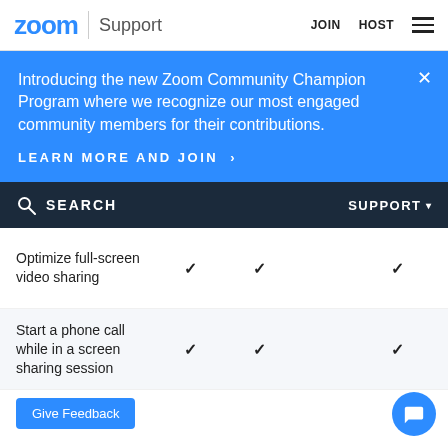zoom | Support    JOIN  HOST  ☰
Introducing the new Zoom Community Champion Program where we recognize our most engaged community members for their contributions.
LEARN MORE AND JOIN  >
SEARCH    SUPPORT ▾
| Feature | Col1 | Col2 | Col3 | Col4 |
| --- | --- | --- | --- | --- |
| Optimize full-screen video sharing | ✓ | ✓ |  | ✓ |
| Start a phone call while in a screen sharing session | ✓ | ✓ |  | ✓ |
Give Feedback